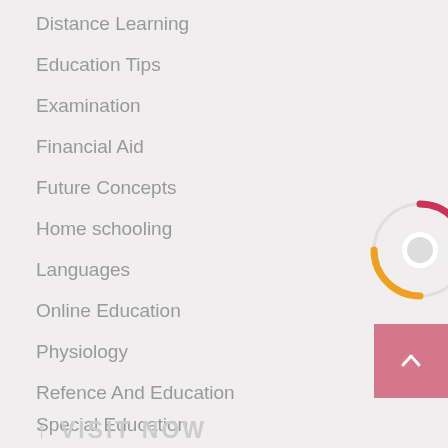Distance Learning
Education Tips
Examination
Financial Aid
Future Concepts
Home schooling
Languages
Online Education
Physiology
Refence And Education
Special Education
[Figure (infographic): Loading spinner with red arc on top-right and yellow/orange arc on bottom-left, white circle center, on light background]
↑ VISIT NOW